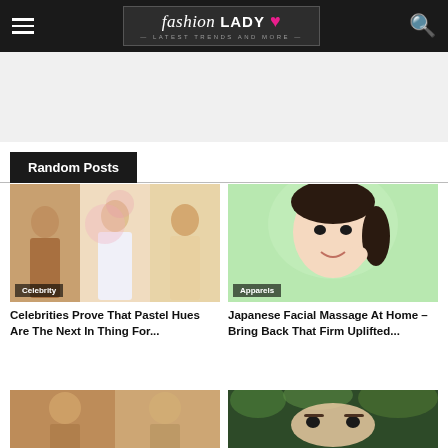fashion LADY – Latest Trends and More
Random Posts
[Figure (photo): Three women in pastel Indian outfits at a celebrity event. Badge: Celebrity]
Celebrities Prove That Pastel Hues Are The Next In Thing For...
[Figure (photo): Smiling Asian woman touching her face, green background. Badge: Apparels]
Japanese Facial Massage At Home – Bring Back That Firm Uplifted...
[Figure (photo): Two women in Indian traditional attire, warm interior background]
[Figure (photo): Close-up of a person's eye with dramatic eye makeup and greenery background]